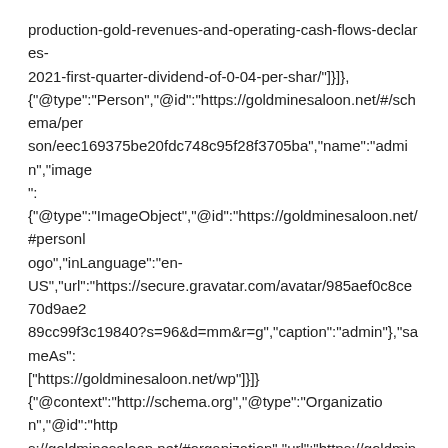production-gold-revenues-and-operating-cash-flows-declares-2021-first-quarter-dividend-of-0-04-per-shar/"]}]},{"@type":"Person","@id":"https://goldminesaloon.net/#/schema/person/eec169375be20fdc748c95f28f3705ba","name":"admin","image":{"@type":"ImageObject","@id":"https://goldminesaloon.net/#personlogo","inLanguage":"en-US","url":"https://secure.gravatar.com/avatar/985aef0c8ce70d9ae289cc99f3c19840?s=96&d=mm&r=g","caption":"admin"},"sameAs":["https://goldminesaloon.net/wp"]}]{"@context":"http://schema.org","@type":"Organization","@id":"https://goldminesaloon.net/#organization","url":"https://goldminesaloon.net/","name":"","logo":{"@type":"ImageObject","url":""},"sameAs":["https://www.facebook.com/jegtheme/","https://twitter.com/jegtheme","https://plus.google.com/+Jegtheme","https://www.linkedin.com/"]}{"@context":"http://schema.org","@type":"WebSite","@id":"https://goldminesaloon.net/#website","url":"https://goldminesaloon.net/","na